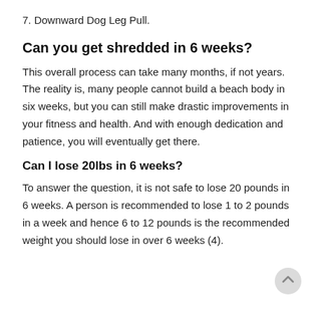7. Downward Dog Leg Pull.
Can you get shredded in 6 weeks?
This overall process can take many months, if not years. The reality is, many people cannot build a beach body in six weeks, but you can still make drastic improvements in your fitness and health. And with enough dedication and patience, you will eventually get there.
Can I lose 20lbs in 6 weeks?
To answer the question, it is not safe to lose 20 pounds in 6 weeks. A person is recommended to lose 1 to 2 pounds in a week and hence 6 to 12 pounds is the recommended weight you should lose in over 6 weeks (4).